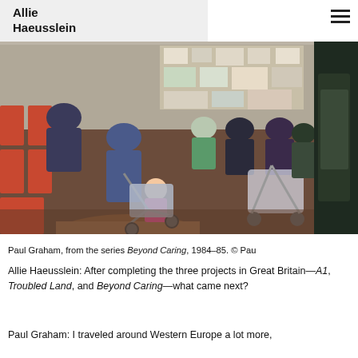Allie Haeusslein
[Figure (photo): Paul Graham photograph from the series Beyond Caring, 1984-85. Interior of what appears to be a waiting room or community center. People, including women with baby strollers/prams and a small child in a pushchair, sit on orange plastic chairs. Bulletin boards with papers are visible on the back wall.]
Paul Graham, from the series Beyond Caring, 1984–85. © Pau
Allie Haeusslein: After completing the three projects in Great Britain—A1, Troubled Land, and Beyond Caring—what came next?
Paul Graham: I traveled around Western Europe a lot more, which resulted in two books, New Europe (1993) and Eur...